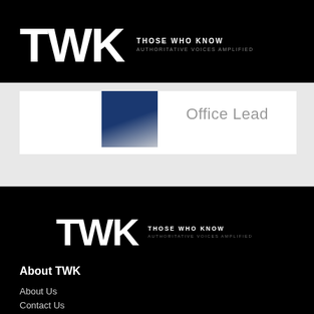TWK THOSE WHO KNOW AUTHORITATIVE VOICES AMPLIFIED
[Figure (photo): Partial view of a person in a navy blue blazer, cropped card element with text 'Office Lead' visible to the right]
Office Lead
[Figure (logo): TWK logo with tagline 'THOSE WHO KNOW / AUTHORITATIVE VOICES AMPLIFIED' on black background]
About TWK
About Us
Contact Us